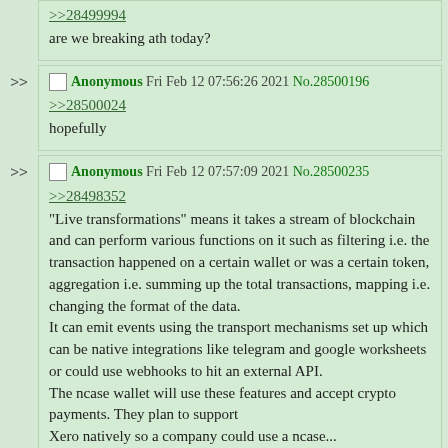>>28499994
are we breaking ath today?
Anonymous Fri Feb 12 07:56:26 2021 No.28500196
>>28500024
hopefully
Anonymous Fri Feb 12 07:57:09 2021 No.28500235
>>28498352
"Live transformations" means it takes a stream of blockchain and can perform various functions on it such as filtering i.e. the transaction happened on a certain wallet or was a certain token, aggregation i.e. summing up the total transactions, mapping i.e. changing the format of the data.
It can emit events using the transport mechanisms set up which can be native integrations like telegram and google worksheets or could use webhooks to hit an external API.
The ncase wallet will use these features and accept crypto payments. They plan to support Xero natively so a company could use a ncase...